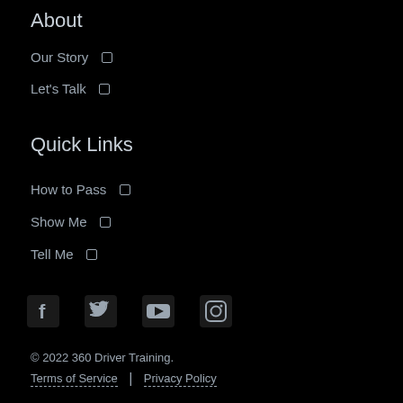About
Our Story
Let's Talk
Quick Links
How to Pass
Show Me
Tell Me
[Figure (other): Social media icons row: Facebook, Twitter, YouTube, Instagram]
© 2022 360 Driver Training.
Terms of Service | Privacy Policy